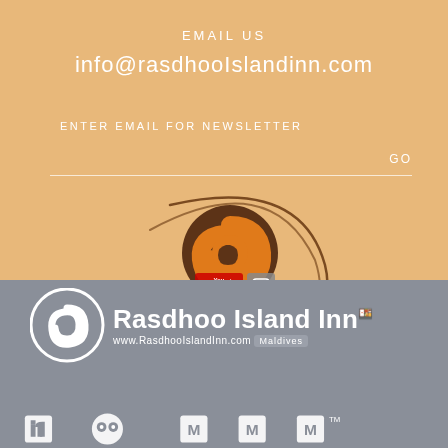EMAIL US
info@rasdhooIslandinn.com
ENTER EMAIL FOR NEWSLETTER
GO
[Figure (logo): Rasdhoo Island Inn spiral logo with social media icons (YouTube, Instagram) overlaid on decorative swirl arcs]
[Figure (logo): Rasdhoo Island Inn full logo: white spiral emblem, brand name, website www.RasdhooIslandInn.com, Maldives badge]
[Figure (logo): Bottom strip with social media icons (LinkedIn, TripAdvisor, etc.) in white on grey]